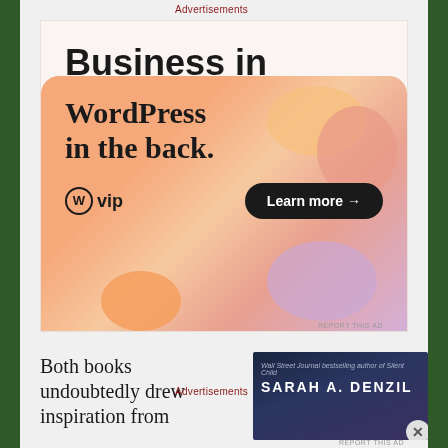Advertisements
[Figure (illustration): WordPress VIP advertisement. Top section on light beige background shows text 'Business in the front...' in bold black. Lower section has colorful rounded gradient background (orange, pink, lavender) with text 'WordPress in the back.' in serif font, WordPress VIP logo on lower left, and 'Learn more →' button in black pill shape on lower right.]
REPORT THIS AD
Both books undoubtedly drew inspiration from
[Figure (illustration): Book advertisement for Sarah A. Denzil on dark navy/purple background. Top text reads 'Wall Street Journal bestselling author of Silent Child'. Author name 'SARAH A. DENZIL' in large white caps.]
Advertisements
REPORT THIS AD